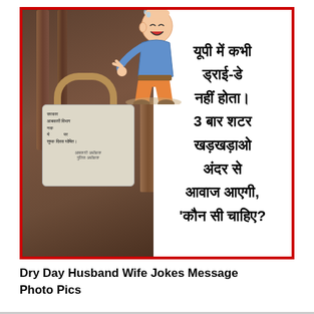[Figure (photo): Meme image with red border. Left half shows a photo of a padlock with an official notice paper (from Excise Department) attached to it, on a rusty metal background. Right half shows bold Hindi text on white background. A cartoon figure of a laughing/crying man overlaps the top center area.]
Dry Day Husband Wife Jokes Message Photo Pics